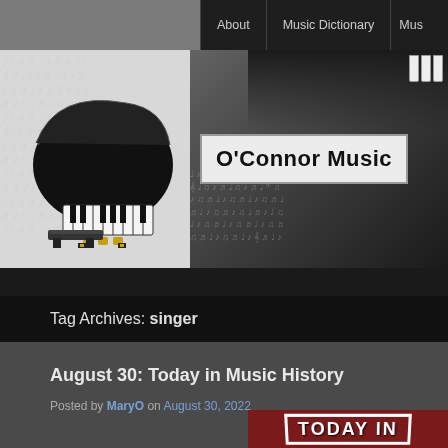About | Music Dictionary | Mus...
[Figure (screenshot): O'Connor Music website banner with a black grand piano on sheet music background on the left, and the site title 'O'Connor Music' in a box on the right, on a dark gradient background]
Tag Archives: singer
August 30: Today in Music History
Posted by MaryO on August 30, 2022
[Figure (screenshot): Red banner image with text 'TODAY IN' in bold serif font with a white border, partially visible at bottom of page]